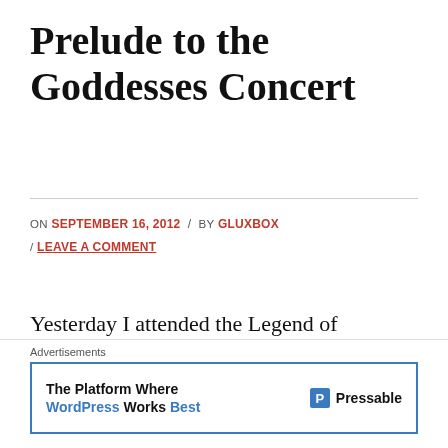Prelude to the Goddesses Concert
ON SEPTEMBER 16, 2012 / BY GLUXBOX / LEAVE A COMMENT
Yesterday I attended the Legend of Zelda: Prelude to the Goddesses Concert at the Nintendo World Store! Now, I know what you might be thinking. "Wait, what? Didn't Glux already attend the Symphony of the Goddesses concert earlier this summer? Doesn't the word prelude
[Figure (other): Advertisement banner: The Platform Where WordPress Works Best — Pressable]